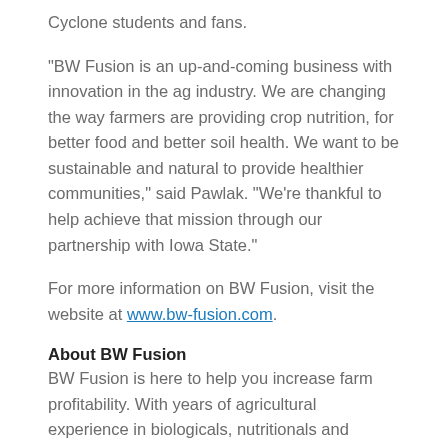Cyclone students and fans.
"BW Fusion is an up-and-coming business with innovation in the ag industry. We are changing the way farmers are providing crop nutrition, for better food and better soil health. We want to be sustainable and natural to provide healthier communities," said Pawlak. "We're thankful to help achieve that mission through our partnership with Iowa State."
For more information on BW Fusion, visit the website at www.bw-fusion.com.
About BW Fusion
BW Fusion is here to help you increase farm profitability. With years of agricultural experience in biologicals, nutritionals and chemicals combined with the knowledge